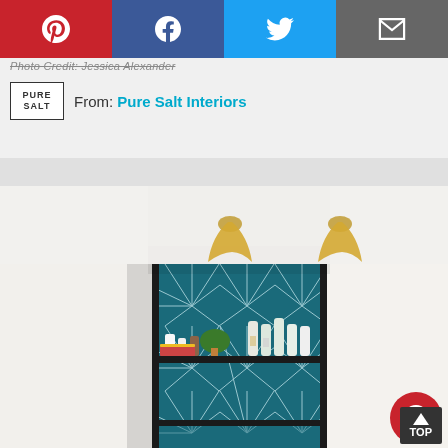[Figure (other): Social share bar with Pinterest (red), Facebook (blue), Twitter (light blue), and Email (gray) buttons]
Photo Credit: Jessica Alexander
From: Pure Salt Interiors
[Figure (photo): Interior bar nook with teal geometric patterned tile backsplash, black metal shelving unit, two gold wall sconce lights, and bar accessories including bottles, vases, and a small plant on the shelf]